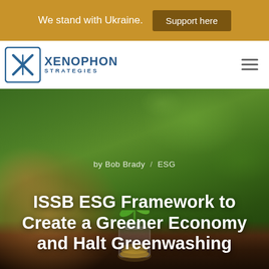We stand with Ukraine.  Support here
[Figure (logo): Xenophon Strategies logo with X icon and text 'XENOPHON STRATEGIES']
by Bob Brady  /  ESG
ISSB ESG Framework to Create a Greener Economy and Halt Greenwashing
[Figure (photo): Hero photo: a hand holding a young green plant sprouting from soil, with a glass jar of coins in the background, representing green economy and ESG investing. Blurred green bokeh background.]